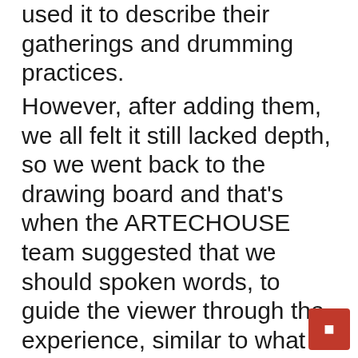used it to describe their gatherings and drumming practices.
However, after adding them, we all felt it still lacked depth, so we went back to the drawing board and that's when the ARTECHOUSE team suggested that we should spoken words, to guide the viewer through the experience, similar to what they noted in some of my pieces online. Having followed Ursula's work since the early 90s when she made tracks like “Supernatural” with King Britt, I knew that one day I would work with her, but I didn’t realize it would take nearly 30 years to do it (lol). While we explored a few other voice artists, she was ultimately the perfect fit for the show that we agreed on as a team, grea